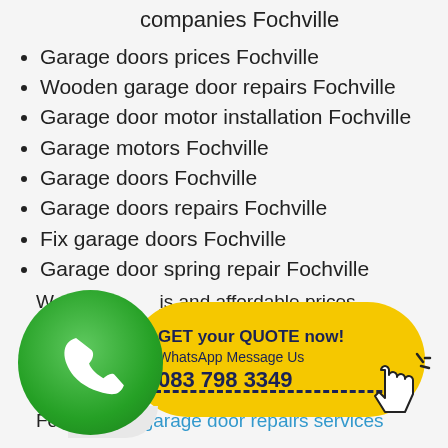Digidoor garage wooden doors companies Fochville
Garage doors prices Fochville
Wooden garage door repairs Fochville
Garage door motor installation Fochville
Garage motors Fochville
Garage doors Fochville
Garage doors repairs Fochville
Fix garage doors Fochville
Garage door spring repair Fochville
[Figure (infographic): WhatsApp call-to-action banner with green WhatsApp logo icon, yellow pill-shaped button showing 'GET your QUOTE now! WhatsApp Message Us 083 798 3349' with a hand cursor icon]
For the best garage door repairs services